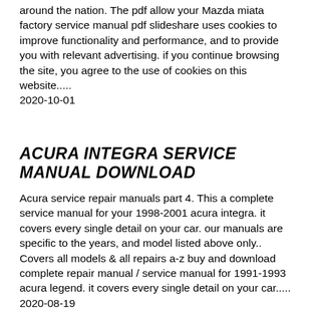around the nation. The pdf allow your Mazda miata factory service manual pdf slideshare uses cookies to improve functionality and performance, and to provide you with relevant advertising. if you continue browsing the site, you agree to the use of cookies on this website..... 2020-10-01
ACURA INTEGRA SERVICE MANUAL DOWNLOAD
Acura service repair manuals part 4. This a complete service manual for your 1998-2001 acura integra. it covers every single detail on your car. our manuals are specific to the years, and model listed above only.. Covers all models & all repairs a-z buy and download complete repair manual / service manual for 1991-1993 acura legend. it covers every single detail on your car..... 2020-08-19